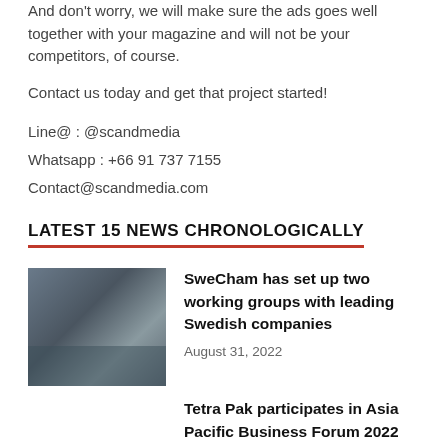And don't worry, we will make sure the ads goes well together with your magazine and will not be your competitors, of course.
Contact us today and get that project started!
Line@ : @scandmedia
Whatsapp : +66 91 737 7155
Contact@scandmedia.com
LATEST 15 NEWS CHRONOLOGICALLY
[Figure (photo): Group photo of people at an event, likely a business meeting or chamber of commerce gathering]
SweCham has set up two working groups with leading Swedish companies
August 31, 2022
Tetra Pak participates in Asia Pacific Business Forum 2022